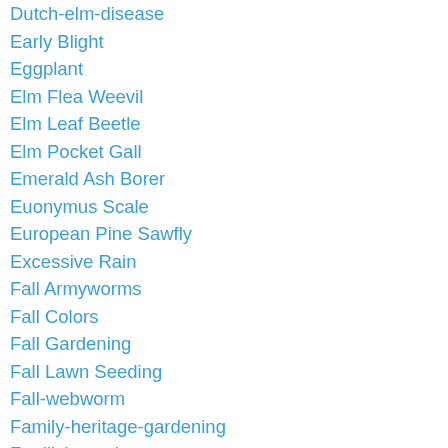Dutch-elm-disease
Early Blight
Eggplant
Elm Flea Weevil
Elm Leaf Beetle
Elm Pocket Gall
Emerald Ash Borer
Euonymus Scale
European Pine Sawfly
Excessive Rain
Fall Armyworms
Fall Colors
Fall Gardening
Fall Lawn Seeding
Fall-webworm
Family-heritage-gardening
Fertilizing-cole-crops
Fertilizing-flowers
Fertilizing Lawns
Field-bindweed
Field Dodder